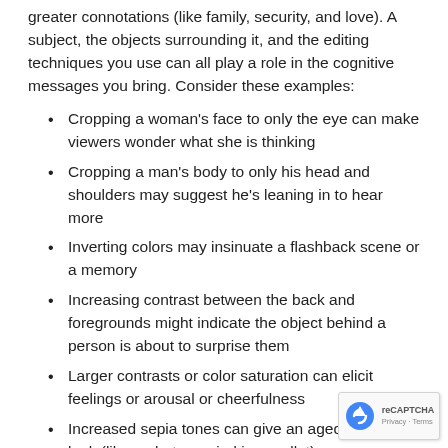greater connotations (like family, security, and love). A subject, the objects surrounding it, and the editing techniques you use can all play a role in the cognitive messages you bring. Consider these examples:
Cropping a woman's face to only the eye can make viewers wonder what she is thinking
Cropping a man's body to only his head and shoulders may suggest he's leaning in to hear more
Inverting colors may insinuate a flashback scene or a memory
Increasing contrast between the back and foregrounds might indicate the object behind a person is about to surprise them
Larger contrasts or color saturation can elicit feelings or arousal or cheerfulness
Increased sepia tones can give an aged or vintage look (like a photo carried in a wallet)
While language can limit our ideas, an image communicates on many different levels. Proficient designers know the more complexity you bring to your print pieces, the greater impact you